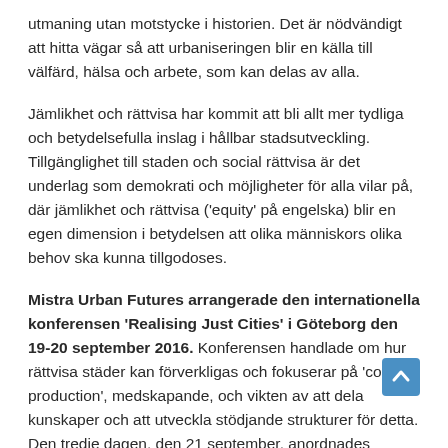utmaning utan motstycke i historien. Det är nödvändigt att hitta vägar så att urbaniseringen blir en källa till välfärd, hälsa och arbete, som kan delas av alla.
Jämlikhet och rättvisa har kommit att bli allt mer tydliga och betydelsefulla inslag i hållbar stadsutveckling. Tillgänglighet till staden och social rättvisa är det underlag som demokrati och möjligheter för alla vilar på, där jämlikhet och rättvisa ('equity' på engelska) blir en egen dimension i betydelsen att olika människors olika behov ska kunna tillgodoses.
Mistra Urban Futures arrangerade den internationella konferensen 'Realising Just Cities' i Göteborg den 19-20 september 2016. Konferensen handlade om hur rättvisa städer kan förverkligas och fokuserar på 'co-production', medskapande, och vikten av att dela kunskaper och att utveckla stödjande strukturer för detta. Den tredje dagen, den 21 september, anordnades fristående workshops för dem som ville fördjupa sitt engagemang i arbetet med att skapa projekt och aktiviteter för 'Realising Just Cities'.